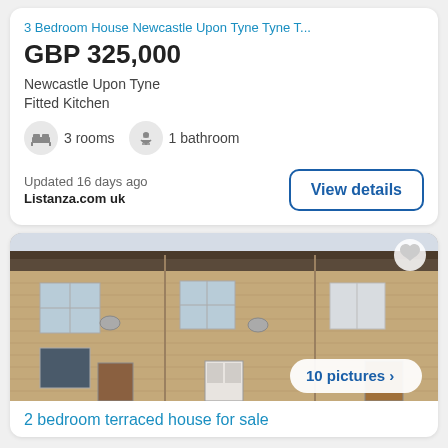3 Bedroom House Newcastle Upon Tyne Tyne T...
GBP 325,000
Newcastle Upon Tyne
Fitted Kitchen
3 rooms
1 bathroom
Updated 16 days ago
Listanza.com uk
View details
[Figure (photo): Exterior photo of a brick terraced house showing two-storey stone facade with windows and doors]
10 pictures ›
2 bedroom terraced house for sale